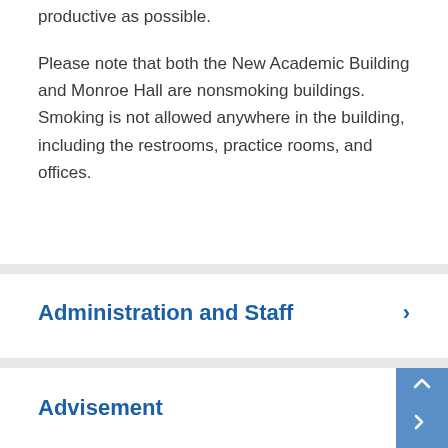productive as possible.
Please note that both the New Academic Building and Monroe Hall are nonsmoking buildings. Smoking is not allowed anywhere in the building, including the restrooms, practice rooms, and offices.
Administration and Staff
Advisement